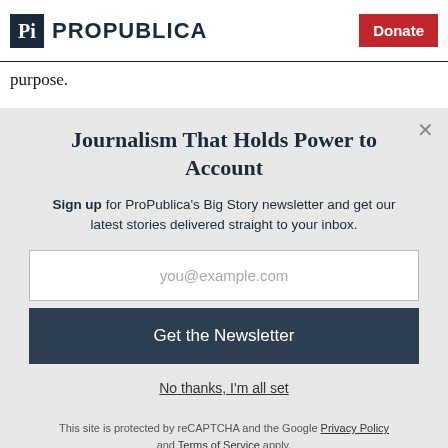ProPublica | Donate
purpose.
Journalism That Holds Power to Account
Sign up for ProPublica's Big Story newsletter and get our latest stories delivered straight to your inbox.
you@example.com
Get the Newsletter
No thanks, I'm all set
This site is protected by reCAPTCHA and the Google Privacy Policy and Terms of Service apply.